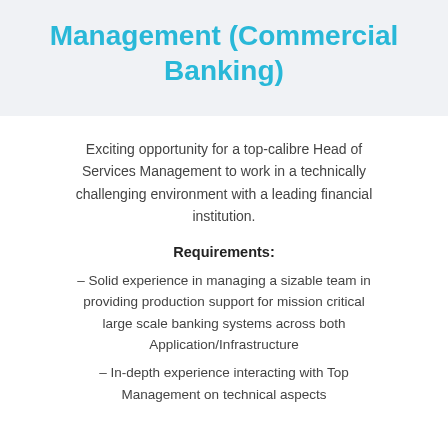Management (Commercial Banking)
Exciting opportunity for a top-calibre Head of Services Management to work in a technically challenging environment with a leading financial institution.
Requirements:
– Solid experience in managing a sizable team in providing production support for mission critical large scale banking systems across both Application/Infrastructure
– In-depth experience interacting with Top Management on technical aspects